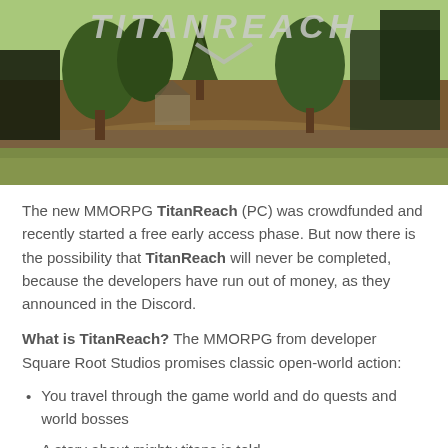[Figure (screenshot): Game screenshot of TitanReach MMORPG showing a forested open-world environment with trees, grass, and structures. The game logo 'TITANREACH' is visible at the top of the image.]
The new MMORPG TitanReach (PC) was crowdfunded and recently started a free early access phase. But now there is the possibility that TitanReach will never be completed, because the developers have run out of money, as they announced in the Discord.
What is TitanReach? The MMORPG from developer Square Root Studios promises classic open-world action:
You travel through the game world and do quests and world bosses
A story about mighty titans is told